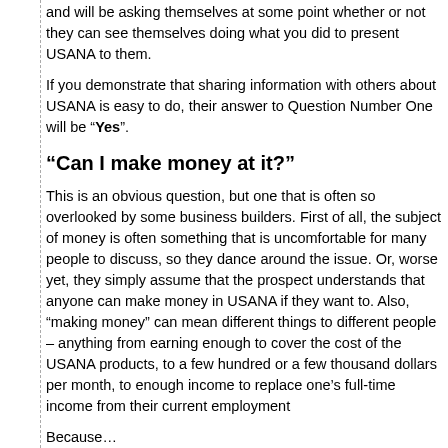and will be asking themselves at some point whether or not they can see themselves doing what you did to present USANA to them.
If you demonstrate that sharing information with others about USANA is easy to do, their answer to Question Number One will be “Yes”.
“Can I make money at it?”
This is an obvious question, but one that is often so overlooked by some business builders. First of all, the subject of money is often something that is uncomfortable for many people to discuss, so they dance around the issue. Or, worse yet, they simply assume that the prospect understands that anyone can make money in USANA if they want to. Also, “making money” can mean different things to different people – anything from earning enough to cover the cost of the USANA products, to a few hundred or a few thousand dollars per month, to enough income to replace one’s full-time income from their current employment
Because…